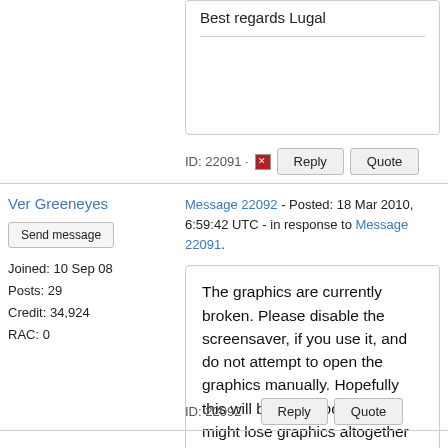Best regards Lugal
ID: 22091 · Reply Quote
Ver Greeneyes
Send message
Joined: 10 Sep 08
Posts: 29
Credit: 34,924
RAC: 0
Message 22092 - Posted: 18 Mar 2010, 6:59:42 UTC - in response to Message 22091.
The graphics are currently broken. Please disable the screensaver, if you use it, and do not attempt to open the graphics manually. Hopefully this will be fixed soon, but we might lose graphics altogether for a while.
ID: 22092 · Reply Quote